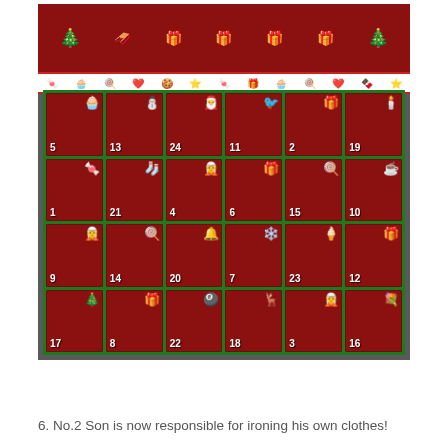[Figure (photo): A Christmas advent calendar made of fabric/felt with a red background and green border. It has 24 numbered pockets arranged in a 6x4 grid, each decorated with a Christmas-themed icon (cupcake, snowman, Santa, reindeer, elf, candy cane, bells, snowflake, Christmas tree, gifts, etc.). The top of the calendar shows Christmas decorations on a red background with a white candy/treat pattern strip. Numbers visible: 5, 13, 24, 11, 2, 19, 1, 21, 4, 6, 15, 10, 9, 14, 20, 7, 23, 12, 17, 8, 22, 18, 3, 16.]
6. No.2 Son is now responsible for ironing his own clothes!